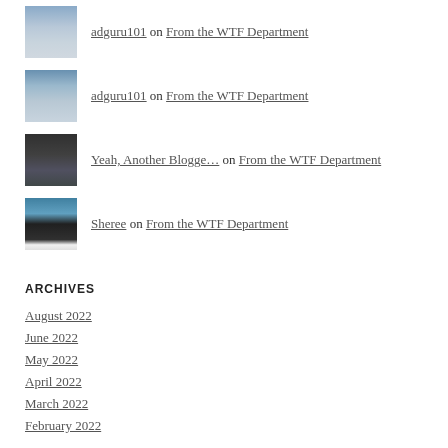adguru101 on From the WTF Department
adguru101 on From the WTF Department
Yeah, Another Blogge… on From the WTF Department
Sheree on From the WTF Department
ARCHIVES
August 2022
June 2022
May 2022
April 2022
March 2022
February 2022